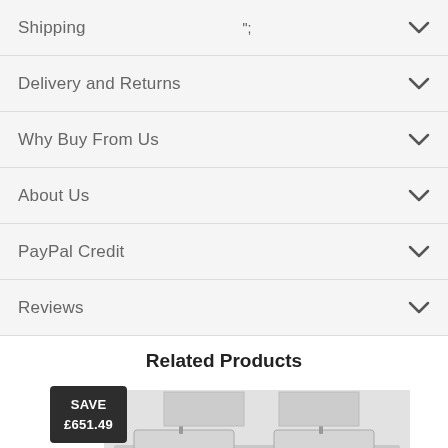Shipping
Delivery and Returns
Why Buy From Us
About Us
PayPal Credit
Reviews
Related Products
[Figure (photo): Bathroom vanity unit product image with a save badge showing SAVE £651.49]
SAVE £651.49